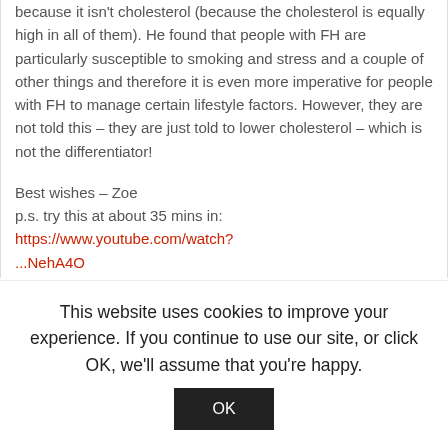because it isn't cholesterol (because the cholesterol is equally high in all of them). He found that people with FH are particularly susceptible to smoking and stress and a couple of other things and therefore it is even more imperative for people with FH to manage certain lifestyle factors. However, they are not told this – they are just told to lower cholesterol – which is not the differentiator!
Best wishes – Zoe
p.s. try this at about 35 mins in:
https://www.youtube.com/watch?
...NehA4O
This website uses cookies to improve your experience. If you continue to use our site, or click OK, we'll assume that you're happy.